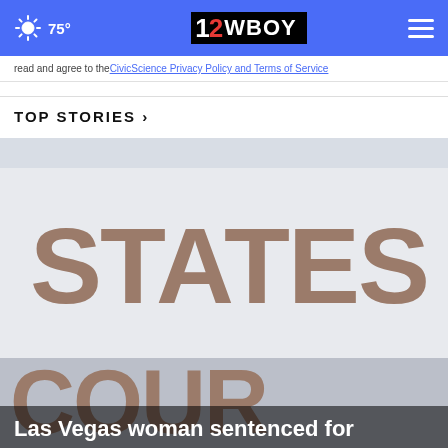75° | 12WBOY
read and agree to the CivicScience Privacy Policy and Terms of Service
TOP STORIES ›
[Figure (photo): Close-up photo of a building sign showing the raised bronze letters 'STATES' and partial letters 'COUR' at the bottom, against a light background. This is a United States courthouse building sign.]
Las Vegas woman sentenced for